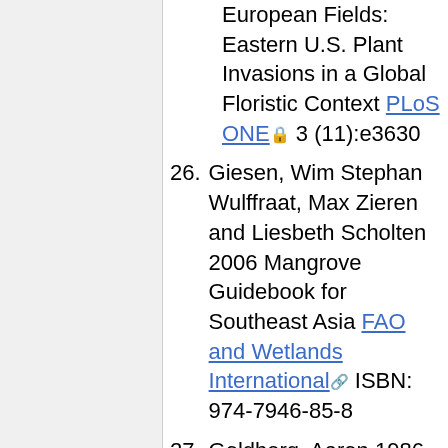European Fields: Eastern U.S. Plant Invasions in a Global Floristic Context PLoS ONE 3 (11):e3630
26. Giesen, Wim Stephan Wulffraat, Max Zieren and Liesbeth Scholten 2006 Mangrove Guidebook for Southeast Asia FAO and Wetlands International ISBN: 974-7946-85-8
27. Goldberg, Aaron 1986 Classification,